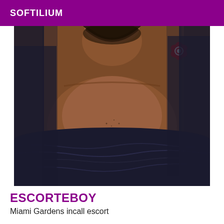SOFTILIUM
[Figure (photo): Close-up photograph of a person's neck and chest area. The person has a beard and a red flower tattoo visible on the upper right shoulder. They are shirtless with a dark navy/black fuzzy blanket or towel covering the lower portion of the chest.]
ESCORTEBOY
Miami Gardens incall escort